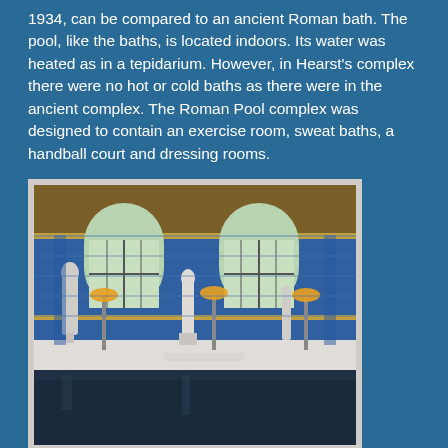1934, can be compared to an ancient Roman bath. The pool, like the baths, is located indoors. Its water was heated as in a tepidarium. However, in Hearst's complex there were no hot or cold baths as there were in the ancient complex. The Roman Pool complex was designed to contain an exercise room, sweat baths, a handball court and dressing rooms.
[Figure (photo): Interior photograph of the Roman Pool at Hearst Castle, showing a grand indoor pool with tall arched windows, blue and gold mosaic walls, classical white marble statues on pedestals lining the pool edge, and amber globe-shaped light fixtures on tall stands. The pool water is dark and reflective.]
The Roman Pool is decorated from ceiling to floor with 1" square mosaic tiles. These glass tiles, called smalti, are either colored (mainly blue or orange) or are clear with fused